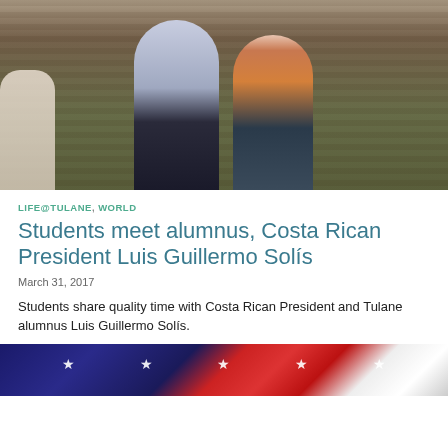[Figure (photo): Two people posing for a photo indoors, with wooden blinds in the background. A man in a white guayabera shirt and a woman in a colorful traditional blouse and striped skirt. A third person is seen from behind holding a camera.]
LIFE@TULANE,  WORLD
Students meet alumnus, Costa Rican President Luis Guillermo Solís
March 31, 2017
Students share quality time with Costa Rican President and Tulane alumnus Luis Guillermo Solís.
[Figure (photo): Partial view of an American flag showing stars and stripes in red, white, and blue.]